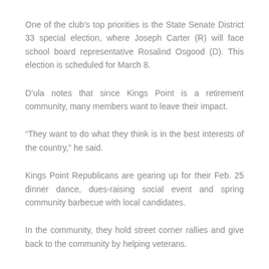One of the club’s top priorities is the State Senate District 33 special election, where Joseph Carter (R) will face school board representative Rosalind Osgood (D). This election is scheduled for March 8.
D’ula notes that since Kings Point is a retirement community, many members want to leave their impact.
“They want to do what they think is in the best interests of the country,” he said.
Kings Point Republicans are gearing up for their Feb. 25 dinner dance, dues-raising social event and spring community barbecue with local candidates.
In the community, they hold street corner rallies and give back to the community by helping veterans.